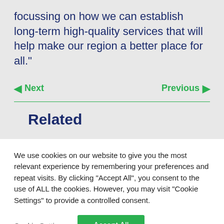focussing on how we can establish long-term high-quality services that will help make our region a better place for all."
◄ Next    Previous ►
Related
We use cookies on our website to give you the most relevant experience by remembering your preferences and repeat visits. By clicking "Accept All", you consent to the use of ALL the cookies. However, you may visit "Cookie Settings" to provide a controlled consent.
Cookie Settings   Accept All